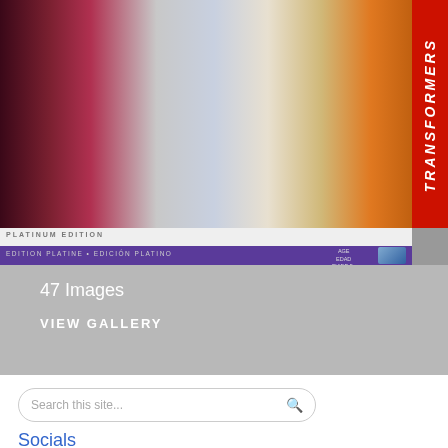[Figure (photo): Transformers Platinum Edition Triple Changer toy packaging image showing robot figures, with red vertical strip on right reading TRANSFORMERS, white banner with PLATINUM EDITION text, and purple banner with multilingual edition names and age rating]
47 Images
VIEW GALLERY
Search this site...
Socials
[Figure (infographic): Row of social media icons: Facebook (blue), Twitter (blue bird), YouTube (red), Instagram (gradient camera), Patreon (orange)]
Sponsors